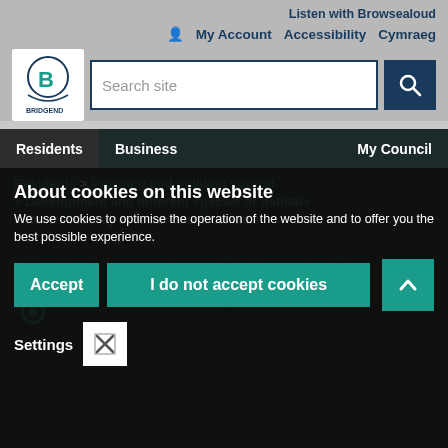Listen with Browsealoud
My Account  Accessibility  Cymraeg
[Figure (logo): Bridgend County Borough Council logo]
Search site
Residents   Business   My Council
Residents > Planning and building control
> Development and different species or habitats
> Resources, key documents and contacts
About cookies on this website
We use cookies to optimise the operation of the website and to offer you the best possible experience.
Accept   I do not accept cookies
Settings
Resources, key documents and